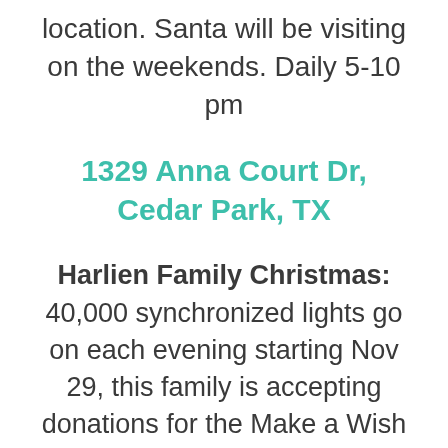location. Santa will be visiting on the weekends. Daily 5-10 pm
1329 Anna Court Dr, Cedar Park, TX
Harlien Family Christmas: 40,000 synchronized lights go on each evening starting Nov 29, this family is accepting donations for the Make a Wish